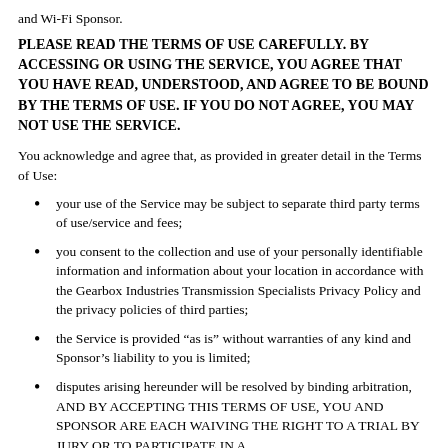and Wi-Fi Sponsor.
PLEASE READ THE TERMS OF USE CAREFULLY.  BY ACCESSING OR USING THE SERVICE, YOU AGREE THAT YOU HAVE READ, UNDERSTOOD, AND AGREE TO BE BOUND BY THE TERMS OF USE.  IF YOU DO NOT AGREE, YOU MAY NOT USE THE SERVICE.
You acknowledge and agree that, as provided in greater detail in the Terms of Use:
your use of the Service may be subject to separate third party terms of use/service and fees;
you consent to the collection and use of your personally identifiable information and information about your location in accordance with the Gearbox Industries Transmission Specialists Privacy Policy and the privacy policies of third parties;
the Service is provided “as is” without warranties of any kind and Sponsor’s liability to you is limited;
disputes arising hereunder will be resolved by binding arbitration, AND BY ACCEPTING THIS TERMS OF USE, YOU AND SPONSOR ARE EACH WAIVING THE RIGHT TO A TRIAL BY JURY OR TO PARTICIPATE IN A